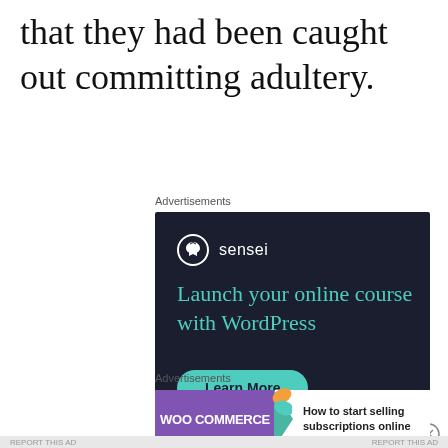that they had been caught out committing adultery.
[Figure (screenshot): Sensei advertisement: dark navy background with Sensei logo (tree icon), headline 'Launch your online course with WordPress' in teal, 'Learn More' button in teal, 'Powered by WordPress.com' at bottom.]
[Figure (screenshot): WooCommerce advertisement: purple left panel with WooCommerce logo, teal arrow, text 'How to start selling subscriptions online' with orange and teal leaf decorations.]